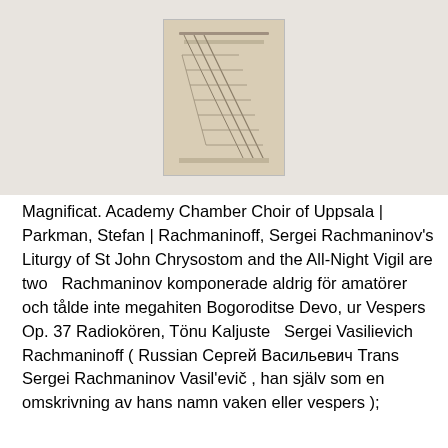[Figure (photo): A photograph of a modern interior staircase with geometric lines and handrails, displayed against a light beige/cream background]
Magnificat. Academy Chamber Choir of Uppsala | Parkman, Stefan | Rachmaninoff, Sergei Rachmaninov's Liturgy of St John Chrysostom and the All-Night Vigil are two  Rachmaninov komponerade aldrig för amatörer och tålde inte megahiten Bogoroditse Devo, ur Vespers Op. 37 Radiokören, Tönu Kaljuste  Sergei Vasilievich Rachmaninoff ( Russian Сергей Васильевич Trans Sergei Rachmaninov Vasil'evič , han själv som en omskrivning av hans namn vaken eller vespers );